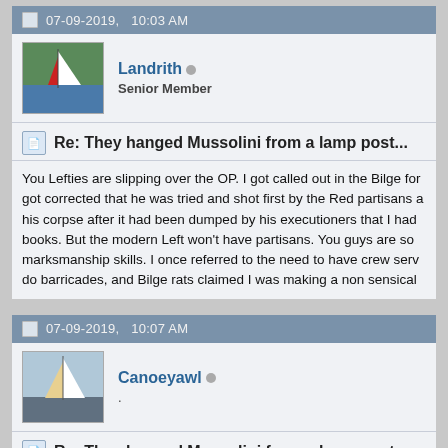07-09-2019, 10:03 AM
Landrith  Senior Member
Re: They hanged Mussolini from a lamp post...
You Lefties are slipping over the OP. I got called out in the Bilge for got corrected that he was tried and shot first by the Red partisans a his corpse after it had been dumped by his executioners that I had books. But the modern Left won't have partisans. You guys are so marksmanship skills. I once referred to the need to have crew serv do barricades, and Bilge rats claimed I was making a non sensical
07-09-2019, 10:07 AM
Canoeyawl
Re: They hanged Mussolini from a lamp post...